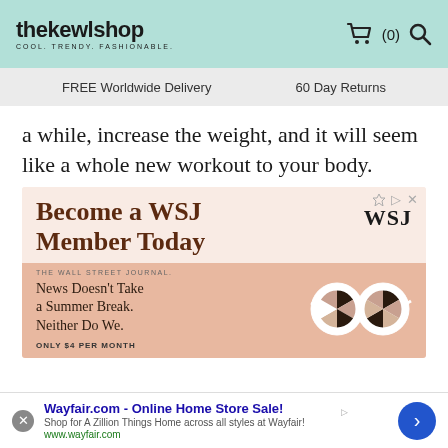[Figure (screenshot): thekewlshop website header with mint green background, logo on left, cart and search icons on right]
FREE Worldwide Delivery    60 Day Returns
a while, increase the weight, and it will seem like a whole new workout to your body.
[Figure (screenshot): WSJ advertisement: 'Become a WSJ Member Today' with WSJ logo, Wall Street Journal tagline, 'News Doesn't Take a Summer Break. Neither Do We.' and 'ONLY $4 PER MONTH' with decorative glasses graphic]
[Figure (screenshot): Wayfair.com bottom ad bar: 'Wayfair.com - Online Home Store Sale!' with description and URL www.wayfair.com, close button and arrow button]